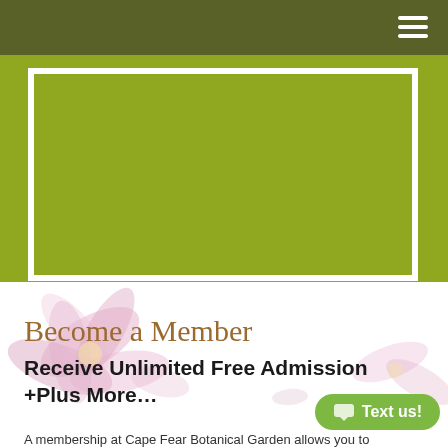[Figure (illustration): Yellow-green banner with white border and dark olive navigation header bar with hamburger menu icon]
[Figure (photo): Pink flowers (cosmos) faded in background on white section]
Become a Member
Receive Unlimited Free Admission +Plus More…
A membership at Cape Fear Botanical Garden allows you to